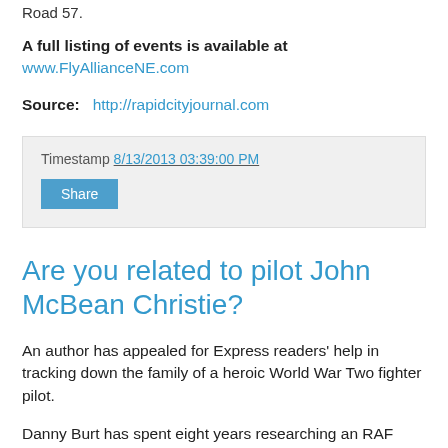Road 57.
A full listing of events is available at www.FlyAllianceNE.com
Source:   http://rapidcityjournal.com
Timestamp 8/13/2013 03:39:00 PM
Share
Are you related to pilot John McBean Christie?
An author has appealed for Express readers’ help in tracking down the family of a heroic World War Two fighter pilot.
Danny Burt has spent eight years researching an RAF squadron and is trying to find out more about a “tough, young” Spitfire pilot from Renfrewshire who was killed in